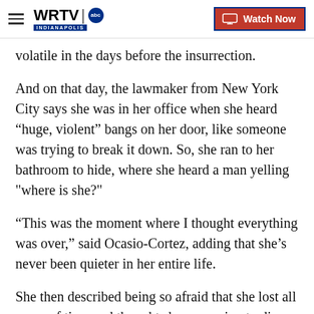WRTV Indianapolis | Watch Now
volatile in the days before the insurrection.
And on that day, the lawmaker from New York City says she was in her office when she heard “huge, violent” bangs on her door, like someone was trying to break it down. So, she ran to her bathroom to hide, where she heard a man yelling "where is she?"
“This was the moment where I thought everything was over,” said Ocasio-Cortez, adding that she’s never been quieter in her entire life.
She then described being so afraid that she lost all sense of time and thought she was going to die.